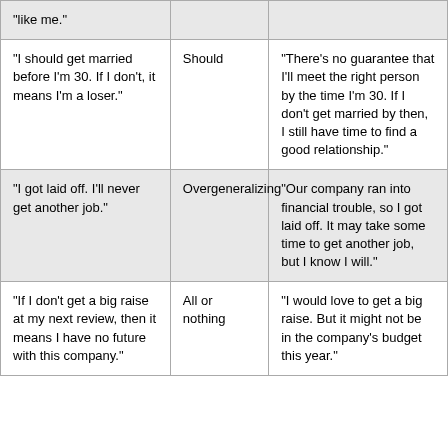| "like me." |  |  |
| "I should get married before I'm 30. If I don't, it means I'm a loser." | Should | "There's no guarantee that I'll meet the right person by the time I'm 30. If I don't get married by then, I still have time to find a good relationship." |
| "I got laid off. I'll never get another job." | Overgeneralizing | "Our company ran into financial trouble, so I got laid off. It may take some time to get another job, but I know I will." |
| "If I don't get a big raise at my next review, then it means I have no future with this company." | All or nothing | "I would love to get a big raise. But it might not be in the company's budget this year." |